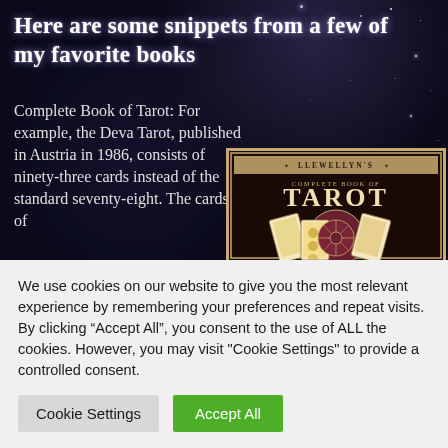Here are some snippets from a few of my favorite books
Complete Book of Tarot: For example, the Deva Tarot, published in Austria in 1986, consists of ninety-three cards instead of the standard seventy-eight. The cards of
[Figure (photo): Book cover of Llewellyn's Complete Book of Tarot, showing tarot cards arranged in a circular pattern with a maroon/dark red decorative border.]
We use cookies on our website to give you the most relevant experience by remembering your preferences and repeat visits. By clicking “Accept All”, you consent to the use of ALL the cookies. However, you may visit "Cookie Settings" to provide a controlled consent.
Cookie Settings
Accept All